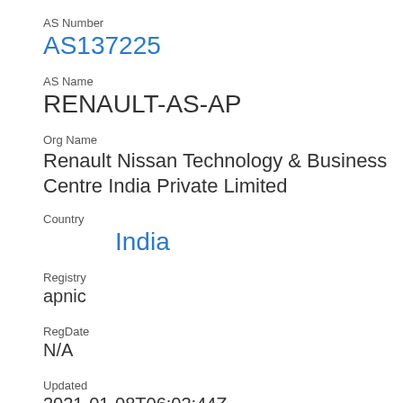AS Number
AS137225
AS Name
RENAULT-AS-AP
Org Name
Renault Nissan Technology & Business Centre India Private Limited
Country
India
Registry
apnic
RegDate
N/A
Updated
2021-01-08T06:02:44Z